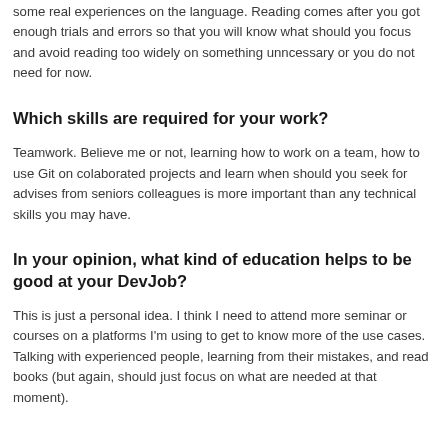some real experiences on the language. Reading comes after you got enough trials and errors so that you will know what should you focus and avoid reading too widely on something unncessary or you do not need for now.
Which skills are required for your work?
Teamwork. Believe me or not, learning how to work on a team, how to use Git on colaborated projects and learn when should you seek for advises from seniors colleagues is more important than any technical skills you may have.
In your opinion, what kind of education helps to be good at your DevJob?
This is just a personal idea. I think I need to attend more seminar or courses on a platforms I'm using to get to know more of the use cases. Talking with experienced people, learning from their mistakes, and read books (but again, should just focus on what are needed at that moment).